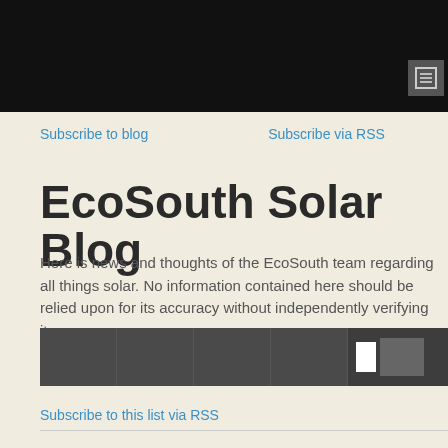Subscribe to blog    Subscribe via RSS
EcoSouth Solar Blog
Here is news and thoughts of the EcoSouth team regarding all things solar. No information contained here should be relied upon for its accuracy without independently verifying it.
Subscribe to this list via RSS
BLOG POSTS TAGGED IN BATTERIES